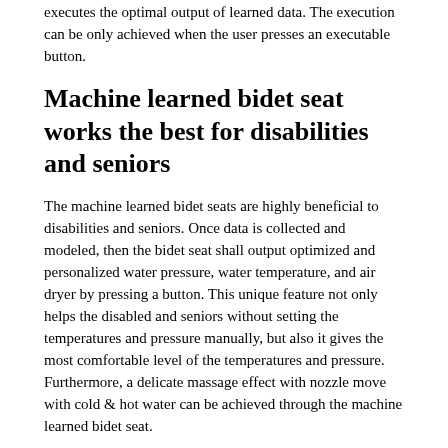executes the optimal output of learned data. The execution can be only achieved when the user presses an executable button.
Machine learned bidet seat works the best for disabilities and seniors
The machine learned bidet seats are highly beneficial to disabilities and seniors. Once data is collected and modeled, then the bidet seat shall output optimized and personalized water pressure, water temperature, and air dryer by pressing a button. This unique feature not only helps the disabled and seniors without setting the temperatures and pressure manually, but also it gives the most comfortable level of the temperatures and pressure.  Furthermore, a delicate massage effect with nozzle move with cold & hot water can be achieved through the machine learned bidet seat.
LivingStar 7100 bidet seat uses machine learned data modeling
LivingStar 7100 bidet seat is enabled by machine learning, which shall bring an opportunity to serve better for the users. The optimized water temperature, water pressure, and air dryer